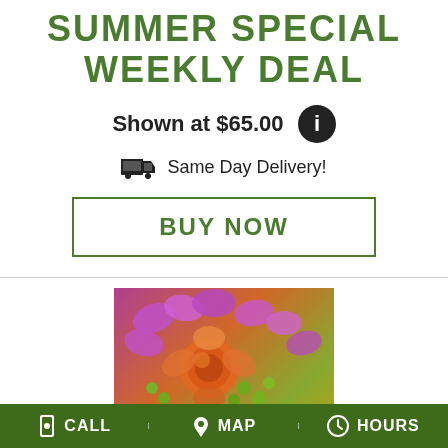SUMMER SPECIAL WEEKLY DEAL
Shown at $65.00
Same Day Delivery!
BUY NOW
[Figure (photo): Custom floral arrangements photo with orange roses, purple flowers, green berries, and text overlay reading 'custom ARRANGEMENTS']
CALL  MAP  HOURS